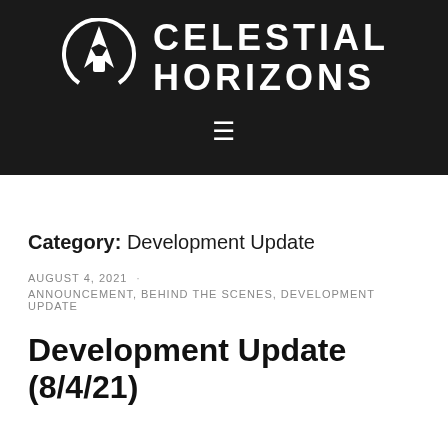[Figure (logo): Celestial Horizons logo: white rocket/spacecraft icon in a circular arc on dark background, with text CELESTIAL HORIZONS in bold white uppercase letters]
≡
Category: Development Update
AUGUST 4, 2021 · ANNOUNCEMENT, BEHIND THE SCENES, DEVELOPMENT UPDATE
Development Update (8/4/21)